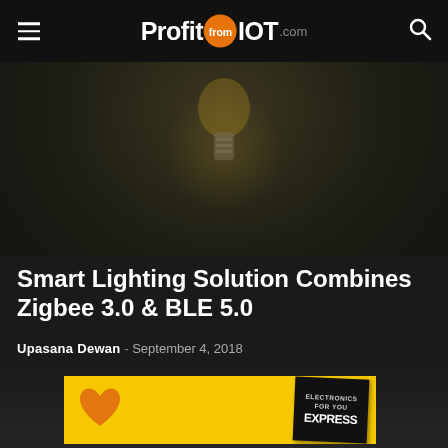ProfitfromIOT.com
[Figure (photo): Dark background hero image showing a glowing smart light bulb or IoT lighting device against a very dark background]
Smart Lighting Solution Combines Zigbee 3.0 & BLE 5.0
Upasana Dewan - September 4, 2018
[Figure (photo): Dark background image partially visible at bottom, showing a smart lighting product, with a yellow advertisement banner overlay showing a heart shape and 'Electronics For You EXPRESS' magazine cover]